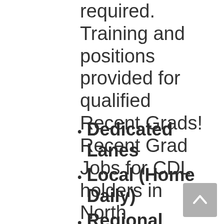required. Training and positions provided for qualified Recent Grads! Recent Grad Jobs for CDL holders in North Baltimore, OH with >6 months of experience.
Dedicated Lanes
Local (Home Daily)
Regional
Over the Road
Solo
Team